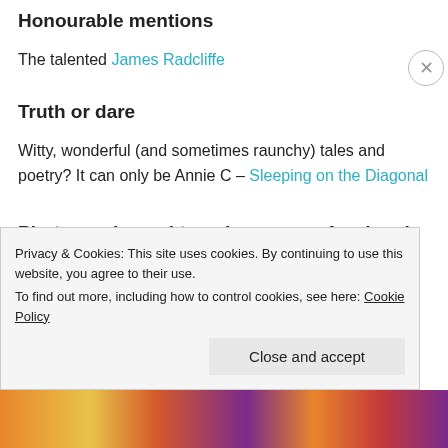Honourable mentions
The talented James Radcliffe
Truth or dare
Witty, wonderful (and sometimes raunchy) tales and poetry? It can only be Annie C – Sleeping on the Diagonal
Photography and travelogue – professional
Privacy & Cookies: This site uses cookies. By continuing to use this website, you agree to their use. To find out more, including how to control cookies, see here: Cookie Policy
Close and accept